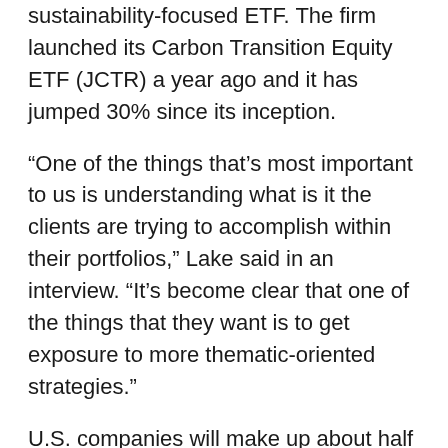sustainability-focused ETF. The firm launched its Carbon Transition Equity ETF (JCTR) a year ago and it has jumped 30% since its inception.
“One of the things that’s most important to us is understanding what is it the clients are trying to accomplish within their portfolios,” Lake said in an interview. “It’s become clear that one of the things that they want is to get exposure to more thematic-oriented strategies.”
U.S. companies will make up about half of the fund with European and emerging markets